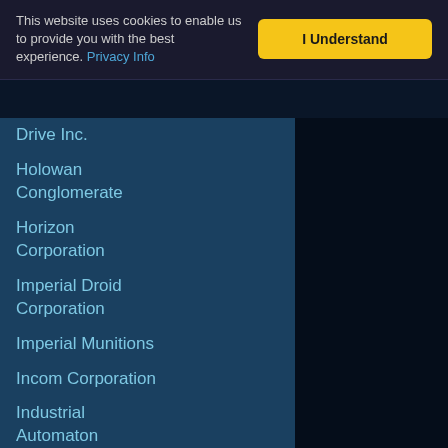This website uses cookies to enable us to provide you with the best experience. Privacy Info
Drive Inc.
Holowan Conglomerate
Horizon Corporation
Imperial Droid Corporation
Imperial Munitions
Incom Corporation
Industrial Automaton
Inner Circle Manufacturing
Intergalactic Emerald Armaments
Jabiim Consortium
Jawa Outer Colonies
Kilsyth Guards
Koensayr Manufacturing